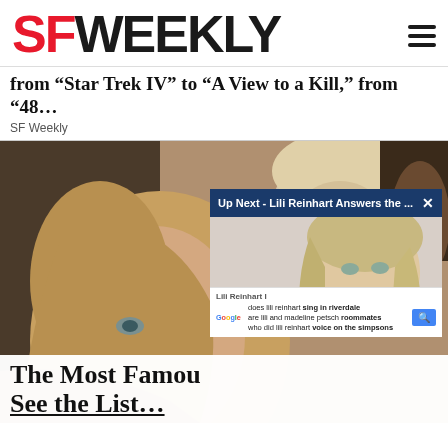SFWEEKLY
from “Star Trek IV” to “A View to a Kill,” from “48…
SF Weekly
[Figure (photo): Two people's faces close up — a blonde woman in foreground and a man with short hair in background, with a video overlay widget showing 'Up Next - Lili Reinhart Answers the ...' and a Google search box with Lili Reinhart searches]
The Most Famou… See the List…